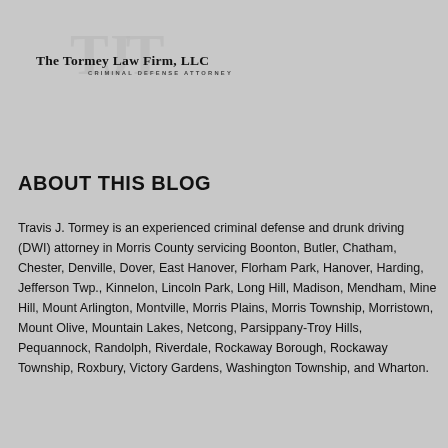[Figure (logo): The Tormey Law Firm, LLC - Criminal Defense Attorney logo with overlapping T-J-T monogram letters in light gray and firm name text]
ABOUT THIS BLOG
Travis J. Tormey is an experienced criminal defense and drunk driving (DWI) attorney in Morris County servicing Boonton, Butler, Chatham, Chester, Denville, Dover, East Hanover, Florham Park, Hanover, Harding, Jefferson Twp., Kinnelon, Lincoln Park, Long Hill, Madison, Mendham, Mine Hill, Mount Arlington, Montville, Morris Plains, Morris Township, Morristown, Mount Olive, Mountain Lakes, Netcong, Parsippany-Troy Hills, Pequannock, Randolph, Riverdale, Rockaway Borough, Rockaway Township, Roxbury, Victory Gardens, Washington Township, and Wharton.